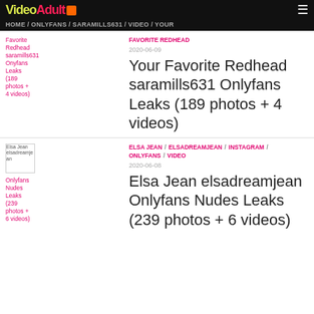VideoAdult
HOME / ONLYFANS / SARAMILLS631 / VIDEO / YOUR FAVORITE REDHEAD
FAVORITE REDHEAD
2020-06-09
Your Favorite Redhead saramills631 Onlyfans Leaks (189 photos + 4 videos)
ELSA JEAN / ELSADREAMJEAN / INSTAGRAM / ONLYFANS / VIDEO
2020-06-08
Elsa Jean elsadreamjean Onlyfans Nudes Leaks (239 photos + 6 videos)